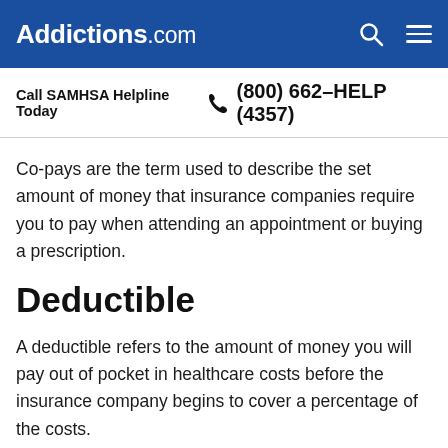Addictions.com
Call SAMHSA Helpline Today  (800) 662-HELP (4357)
Co-pays are the term used to describe the set amount of money that insurance companies require you to pay when attending an appointment or buying a prescription.
Deductible
A deductible refers to the amount of money you will pay out of pocket in healthcare costs before the insurance company begins to cover a percentage of the costs.
Co-insurance